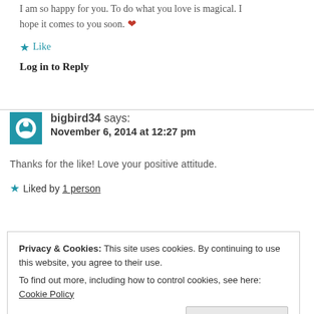I am so happy for you. To do what you love is magical. I hope it comes to you soon. ❤
★ Like
Log in to Reply
bigbird34 says: November 6, 2014 at 12:27 pm
Thanks for the like! Love your positive attitude.
★ Liked by 1 person
Privacy & Cookies: This site uses cookies. By continuing to use this website, you agree to their use. To find out more, including how to control cookies, see here: Cookie Policy
Close and accept